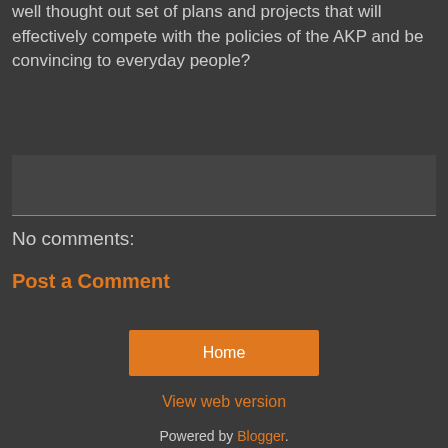well thought out set of plans and projects that will effectively compete with the policies of the AKP and be convincing to everyday people?
No comments:
Post a Comment
Home
View web version
Powered by Blogger.